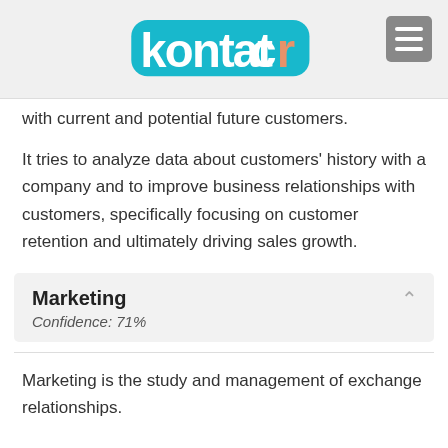kontactr
with current and potential future customers.
It tries to analyze data about customers' history with a company and to improve business relationships with customers, specifically focusing on customer retention and ultimately driving sales growth.
Marketing
Confidence: 71%
Marketing is the study and management of exchange relationships.